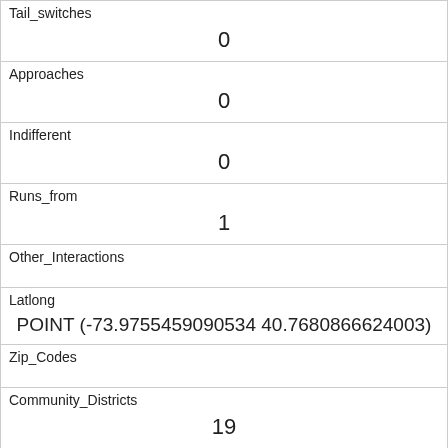| Field | Value |
| --- | --- |
| Tail_switches | 0 |
| Approaches | 0 |
| Indifferent | 0 |
| Runs_from | 1 |
| Other_Interactions |  |
| Latlong | POINT (-73.9755459090534 40.7680866624003) |
| Zip_Codes |  |
| Community_Districts | 19 |
| Borough_Boundaries | 4 |
| City_Council_Districts | 19 |
| Police_Precincts |  |